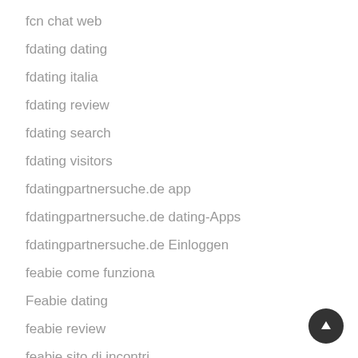fcn chat web
fdating dating
fdating italia
fdating review
fdating search
fdating visitors
fdatingpartnersuche.de app
fdatingpartnersuche.de dating-Apps
fdatingpartnersuche.de Einloggen
feabie come funziona
Feabie dating
feabie review
feabie sito di incontri